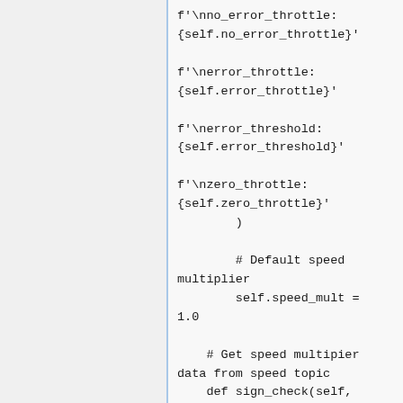f'\nno_error_throttle: {self.no_error_throttle}'

f'\nerror_throttle: {self.error_throttle}'

f'\nerror_threshold: {self.error_threshold}'

f'\nzero_throttle: {self.zero_throttle}'
        )

        # Default speed multiplier
        self.speed_mult = 1.0

    # Get speed multipier data from speed topic
    def sign_check(self, data):
        self.speed_mult = data.data